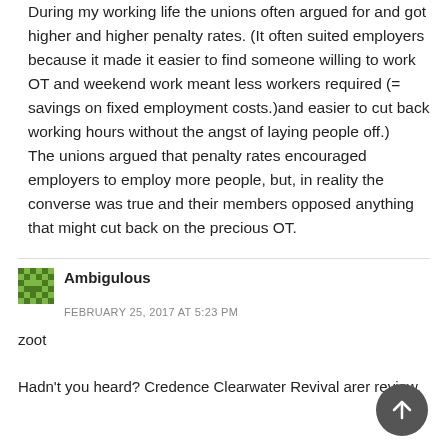During my working life the unions often argued for and got higher and higher penalty rates. (It often suited employers because it made it easier to find someone willing to work OT and weekend work meant less workers required (= savings on fixed employment costs.)and easier to cut back working hours without the angst of laying people off.)
The unions argued that penalty rates encouraged employers to employ more people, but, in reality the converse was true and their members opposed anything that might cut back on the precious OT.
Ambigulous
FEBRUARY 25, 2017 AT 5:23 PM
zoot

Hadn't you heard? Credence Clearwater Revival are under review.